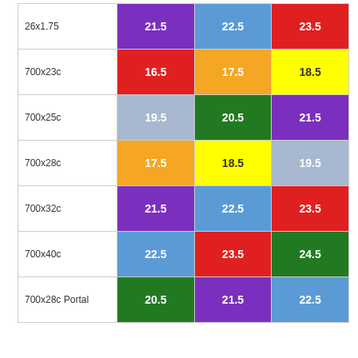|  | Col1 | Col2 | Col3 |
| --- | --- | --- | --- |
| 26x1.75 | 21.5 | 22.5 | 23.5 |
| 700x23c | 16.5 | 17.5 | 18.5 |
| 700x25c | 19.5 | 20.5 | 21.5 |
| 700x28c | 17.5 | 18.5 | 19.5 |
| 700x32c | 21.5 | 22.5 | 23.5 |
| 700x40c | 22.5 | 23.5 | 24.5 |
| 700x28c Portal | 20.5 | 21.5 | 22.5 |